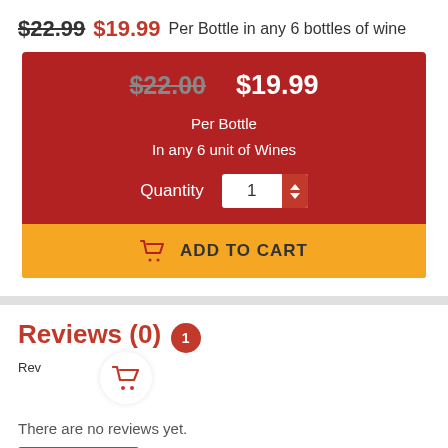$22.99  $19.99 Per Bottle in any 6 bottles of wine
[Figure (screenshot): Product purchase widget with red background showing old price $22.00 struck through, new price $19.99, 'Per Bottle / In any 6 unit of Wines', quantity selector showing 1, and yellow ADD TO CART button]
Reviews (0)
Reviews
There are no reviews yet.
Add a review